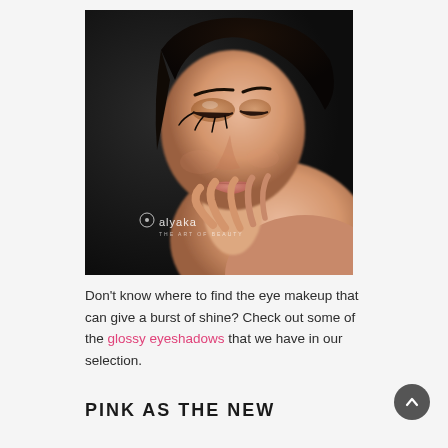[Figure (photo): Close-up beauty portrait of a young woman with dark hair, eyes closed, wearing warm peachy-gold eye makeup and subtle lip color, hand posed under her chin. The Alyaka brand logo and tagline 'the art of beauty' appear in the lower left of the image.]
Don't know where to find the eye makeup that can give a burst of shine? Check out some of the glossy eyeshadows that we have in our selection.
PINK AS THE NEW